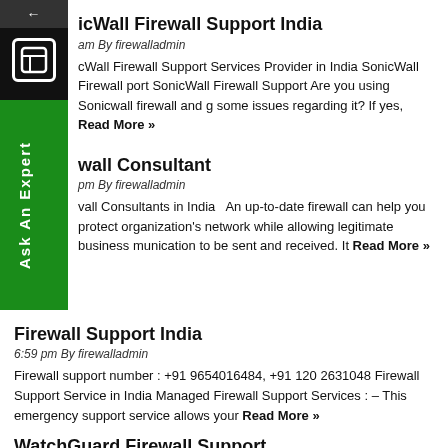SonicWall Firewall Support India
am By firewalladmin
SonicWall Firewall Support Services Provider in India SonicWall Firewall port SonicWall Firewall Support Are you using Sonicwall firewall and g some issues regarding it? If yes, Read More »
Firewall Consultant
pm By firewalladmin
vall Consultants in India   An up-to-date firewall can help you protect organization's network while allowing legitimate business munication to be sent and received. It Read More »
Firewall Support India
6:59 pm By firewalladmin
Firewall support number : +91 9654016484, +91 120 2631048 Firewall Support Service in India Managed Firewall Support Services : – This emergency support service allows your Read More »
WatchGuard Firewall Support
12:47 pm By firewalladmin